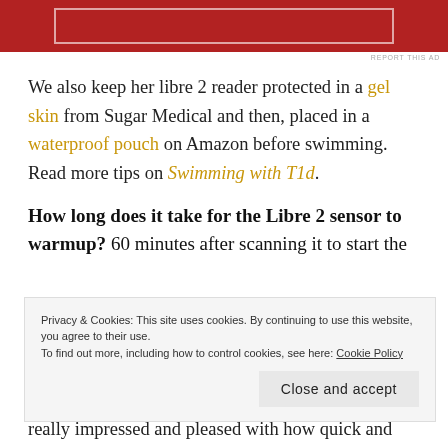[Figure (other): Red advertisement banner with white border rectangle inside]
REPORT THIS AD
We also keep her libre 2 reader protected in a gel skin from Sugar Medical and then, placed in a waterproof pouch on Amazon before swimming. Read more tips on Swimming with T1d.
How long does it take for the Libre 2 sensor to warmup? 60 minutes after scanning it to start the
Privacy & Cookies: This site uses cookies. By continuing to use this website, you agree to their use.
To find out more, including how to control cookies, see here: Cookie Policy
Close and accept
really impressed and pleased with how quick and